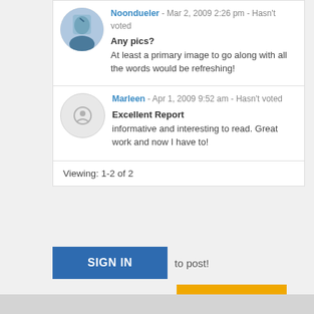Noondueler - Mar 2, 2009 2:26 pm - Hasn't voted
Any pics? At least a primary image to go along with all the words would be refreshing!
Marleen - Apr 1, 2009 9:52 am - Hasn't voted
Excellent Report informative and interesting to read. Great work and now I have to!
Viewing: 1-2 of 2
SIGN IN to post!
Don't have an account? REGISTER NOW